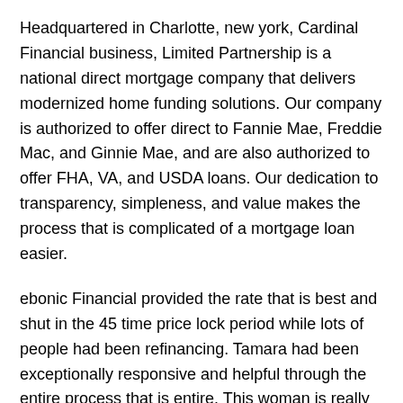Headquartered in Charlotte, new york, Cardinal Financial business, Limited Partnership is a national direct mortgage company that delivers modernized home funding solutions. Our company is authorized to offer direct to Fannie Mae, Freddie Mac, and Ginnie Mae, and are also authorized to offer FHA, VA, and USDA loans. Our dedication to transparency, simpleness, and value makes the process that is complicated of a mortgage loan easier.
ebonic Financial provided the rate that is best and shut in the 45 time price lock period while lots of people had been refinancing. Tamara had been exceptionally responsive and helpful through the entire process that is entire. This woman is really knowledgeable and constantly ready to assist even though it had been maybe not her main duty. Her peers also assisted quickly whenever she actually is out from the workplace. Abby worked closely with underwriting to accomplish that process.